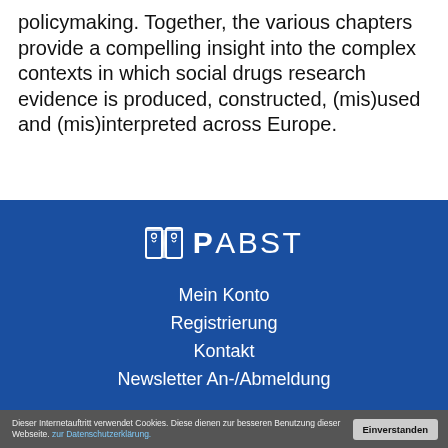policymaking. Together, the various chapters provide a compelling insight into the complex contexts in which social drugs research evidence is produced, constructed, (mis)used and (mis)interpreted across Europe.
[Figure (logo): Pabst publisher logo — open book icon with the word PABST in white on blue background]
Mein Konto
Registrierung
Kontakt
Newsletter An-/Abmeldung
Dieser Internetauftritt verwendet Cookies. Diese dienen zur besseren Benutzung dieser Webseite. zur Datenschutzerklärung.